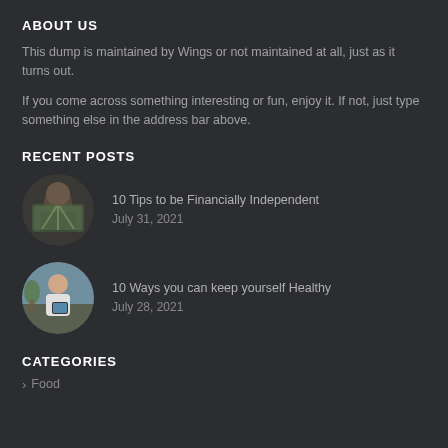ABOUT US
This dump is maintained by Wings or not maintained at all, just as it turns out.
If you come across something interesting or fun, enjoy it. If not, just type something else in the address bar above.
RECENT POSTS
[Figure (photo): Circular thumbnail of person holding fan of money bills]
10 Tips to be Financially Independent
July 31, 2021
[Figure (photo): Circular thumbnail of person looking at tablet outdoors]
10 Ways you can keep yourself Healthy
July 28, 2021
CATEGORIES
Food